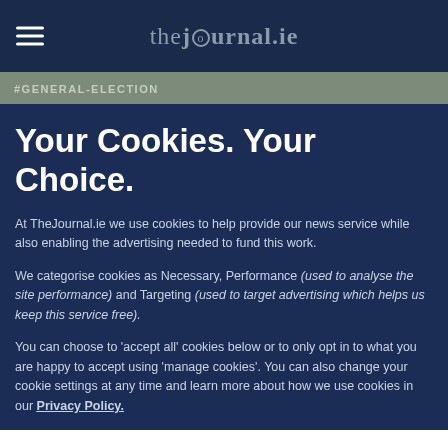thejournal.ie
#GENERAL-ELECTION
Your Cookies. Your Choice.
At TheJournal.ie we use cookies to help provide our news service while also enabling the advertising needed to fund this work.
We categorise cookies as Necessary, Performance (used to analyse the site performance) and Targeting (used to target advertising which helps us keep this service free).
You can choose to 'accept all' cookies below or to only opt in to what you are happy to accept using 'manage cookies'. You can also change your cookie settings at any time and learn more about how we use cookies in our Privacy Policy.